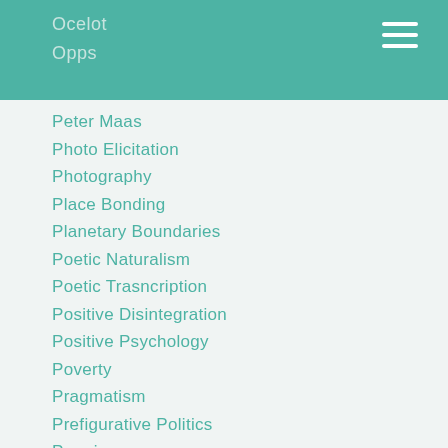Ocelot
Opps
Peter Maas
Photo Elicitation
Photography
Place Bonding
Planetary Boundaries
Poetic Naturalism
Poetic Trasncription
Positive Disintegration
Positive Psychology
Poverty
Pragmatism
Prefigurative Politics
Premiere
Prepared Learning
Priority Species
Pro-environmental Behavior
Progress Focused Approach
Qualitative
Raworth